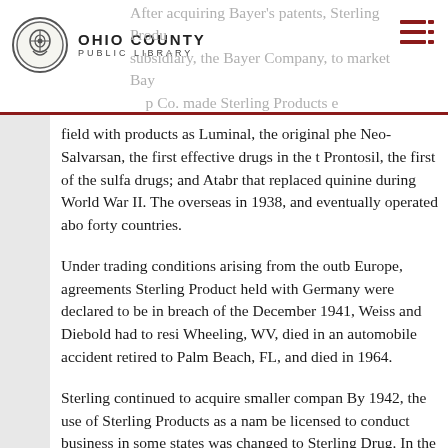OHIO COUNTY PUBLIC LIBRARY
field with products as Luminal, the original phe Neo-Salvarsan, the first effective drugs in the t Prontosil, the first of the sulfa drugs; and Atabr that replaced quinine during World War II. The overseas in 1938, and eventually operated abo forty countries.
Under trading conditions arising from the outb Europe, agreements Sterling Product held with Germany were declared to be in breach of the December 1941, Weiss and Diebold had to resi Wheeling, WV, died in an automobile accident retired to Palm Beach, FL, and died in 1964.
Sterling continued to acquire smaller compan By 1942, the use of Sterling Products as a nam be licensed to conduct business in some states was changed to Sterling Drug. In the words of Commission report on the Merger Moveme